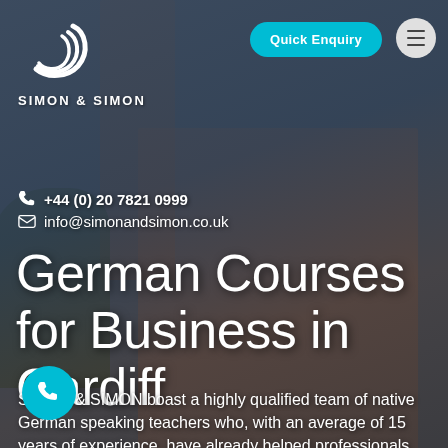[Figure (photo): Background photo of a historic red-brick building with a tower, overlaid with a dark blue-grey semi-transparent tint. Trees visible on the left.]
SIMON & SIMON
+44 (0) 20 7821 0999
info@simonandsimon.co.uk
German Courses for Business in Cardiff
SIMON & SIMON boast a highly qualified team of native German speaking teachers who, with an average of 15 years of experience, have already helped professionals and private individuals from all across the UK achieve their